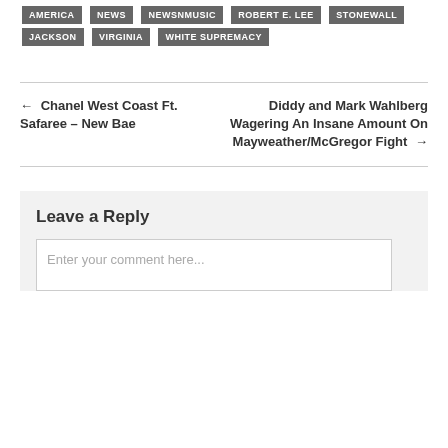AMERICA
NEWS
NEWSNMUSIC
ROBERT E. LEE
STONEWALL JACKSON
VIRGINIA
WHITE SUPREMACY
← Chanel West Coast Ft. Safaree – New Bae
Diddy and Mark Wahlberg Wagering An Insane Amount On Mayweather/McGregor Fight →
Leave a Reply
Enter your comment here...